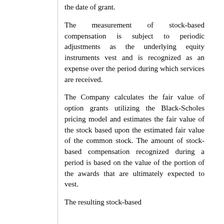the date of grant.
The measurement of stock-based compensation is subject to periodic adjustments as the underlying equity instruments vest and is recognized as an expense over the period during which services are received.
The Company calculates the fair value of option grants utilizing the Black-Scholes pricing model and estimates the fair value of the stock based upon the estimated fair value of the common stock. The amount of stock-based compensation recognized during a period is based on the value of the portion of the awards that are ultimately expected to vest.
The resulting stock-based